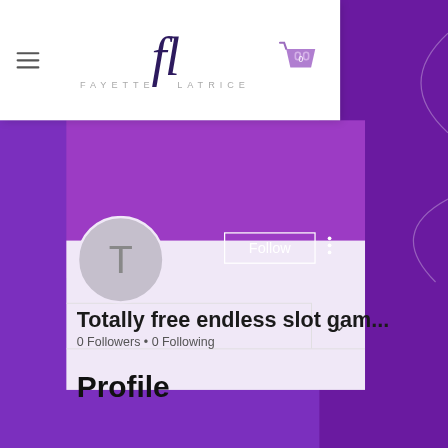[Figure (screenshot): Fayette Latrice website header with logo, hamburger menu, and shopping cart icon showing 0 items]
[Figure (screenshot): Social profile page with purple banner, avatar placeholder with letter T, Follow button, and three-dot menu]
Totally free endless slot gam...
0 Followers • 0 Following
Profile